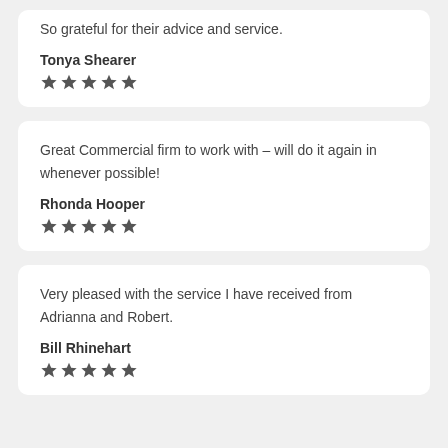So grateful for their advice and service.
Tonya Shearer
[Figure (other): 5 star rating icons]
Great Commercial firm to work with – will do it again in whenever possible!
Rhonda Hooper
[Figure (other): 5 star rating icons]
Very pleased with the service I have received from Adrianna and Robert.
Bill Rhinehart
[Figure (other): 5 star rating icons]